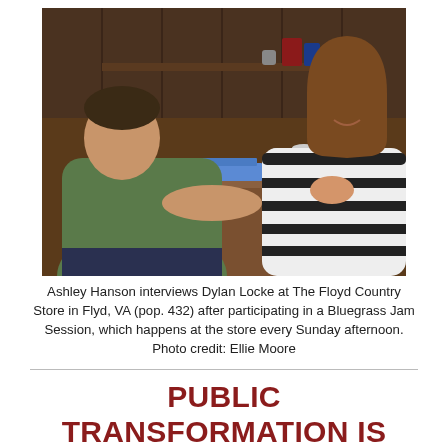[Figure (photo): Two people sitting across from each other at a wooden booth table inside what appears to be a store or diner. The person on the left wears a green t-shirt and is seen from behind. The person on the right wears a black and white striped shirt and appears to be speaking or smiling.]
Ashley Hanson interviews Dylan Locke at The Floyd Country Store in Flyd, VA (pop. 432) after participating in a Bluegrass Jam Session, which happens at the store every Sunday afternoon. Photo credit: Ellie Moore
PUBLIC TRANSFORMATION IS A DOCUMENTARY ART